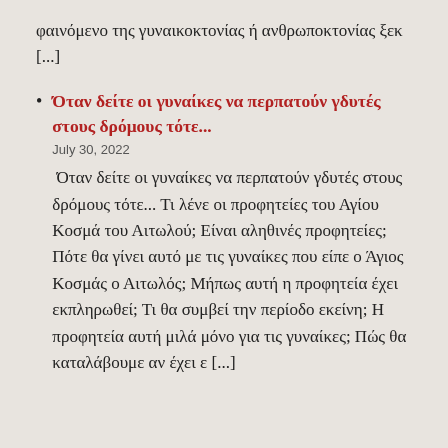φαινόμενο της γυναικοκτονίας ή ανθρωποκτονίας ξεκ [...]
Όταν δείτε οι γυναίκες να περπατούν γδυτές στους δρόμους τότε...
July 30, 2022
Όταν δείτε οι γυναίκες να περπατούν γδυτές στους δρόμους τότε... Τι λένε οι προφητείες του Αγίου Κοσμά του Αιτωλού; Είναι αληθινές προφητείες; Πότε θα γίνει αυτό με τις γυναίκες που είπε ο Άγιος Κοσμάς ο Αιτωλός; Μήπως αυτή η προφητεία έχει εκπληρωθεί; Τι θα συμβεί την περίοδο εκείνη; Η προφητεία αυτή μιλά μόνο για τις γυναίκες; Πώς θα καταλάβουμε αν έχει ε [...]